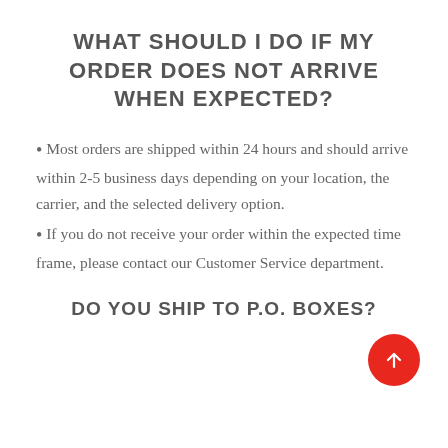WHAT SHOULD I DO IF MY ORDER DOES NOT ARRIVE WHEN EXPECTED?
Most orders are shipped within 24 hours and should arrive within 2-5 business days depending on your location, the carrier, and the selected delivery option.
If you do not receive your order within the expected time frame, please contact our Customer Service department.
DO YOU SHIP TO P.O. BOXES?